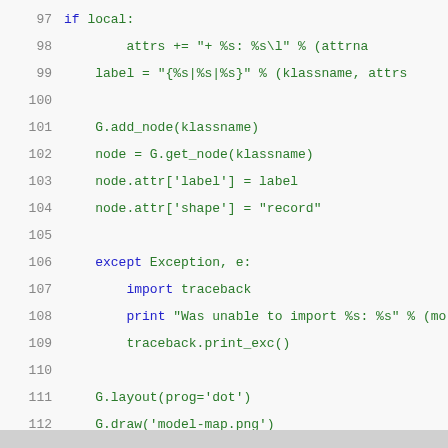97  if local:
98      attrs += "+ %s: %s\l" % (attrna
99      label = "{%s|%s|%s}" % (klassname, attrs
100
101      G.add_node(klassname)
102      node = G.get_node(klassname)
103      node.attr['label'] = label
104      node.attr['shape'] = "record"
105
106      except Exception, e:
107          import traceback
108          print "Was unable to import %s: %s" % (mo
109          traceback.print_exc()
110
111      G.layout(prog='dot')
112      G.draw('model-map.png')
113
114  if __name__ == "__main__":
115      main(sys.argv)